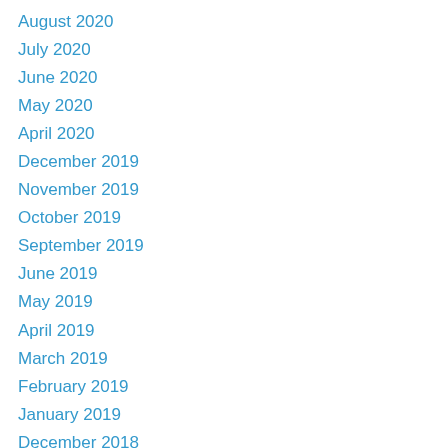August 2020
July 2020
June 2020
May 2020
April 2020
December 2019
November 2019
October 2019
September 2019
June 2019
May 2019
April 2019
March 2019
February 2019
January 2019
December 2018
November 2018
October 2018
September 2018
August 2018